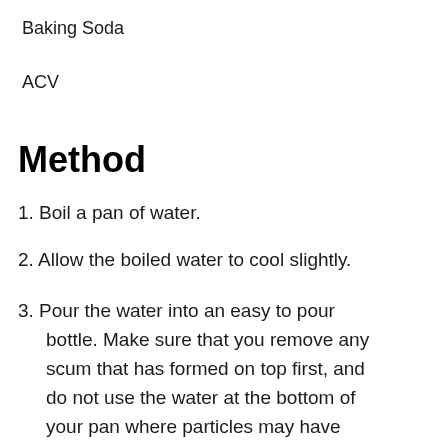Baking Soda
ACV
Method
1. Boil a pan of water.
2. Allow the boiled water to cool slightly.
3. Pour the water into an easy to pour bottle. Make sure that you remove any scum that has formed on top first, and do not use the water at the bottom of your pan where particles may have settled after the boiling process.